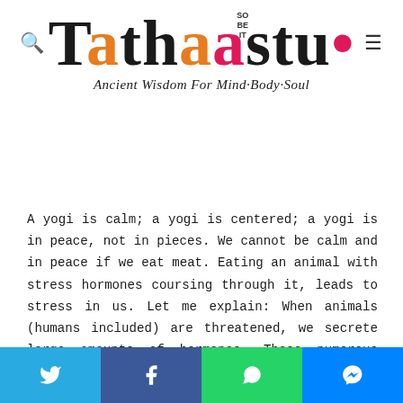Tathaastu – Ancient Wisdom For Mind·Body·Soul
A yogi is calm; a yogi is centered; a yogi is in peace, not in pieces. We cannot be calm and in peace if we eat meat. Eating an animal with stress hormones coursing through it, leads to stress in us. Let me explain: When animals (humans included) are threatened, we secrete large amounts of hormones. These numerous hormones are frequently referred to as adrenaline. Their purpose is to prepare our body to fight, to save our lives. Have you ever noticed that when you get scared, a lot of things happen inside you? Your heart beats fast; your digestion stops;
Social share bar: Twitter, Facebook, WhatsApp, Messenger